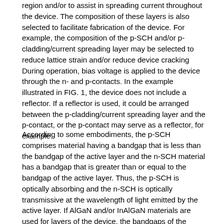region and/or to assist in spreading current throughout the device. The composition of these layers is also selected to facilitate fabrication of the device. For example, the composition of the p-SCH and/or p-cladding/current spreading layer may be selected to reduce lattice strain and/or reduce device cracking During operation, bias voltage is applied to the device through the n- and p-contacts. In the example illustrated in FIG. 1, the device does not include a reflector. If a reflector is used, it could be arranged between the p-cladding/current spreading layer and the p-contact, or the p-contact may serve as a reflector, for example.
According to some embodiments, the p-SCH comprises material having a bandgap that is less than the bandgap of the active layer and the n-SCH material has a bandgap that is greater than or equal to the bandgap of the active layer. Thus, the p-SCH is optically absorbing and the n-SCH is optically transmissive at the wavelength of light emitted by the active layer. If AlGaN and/or InAlGaN materials are used for layers of the device, the bandgaps of the AlGaN and/or InAlGaN layers can be controlled by the Al concentration of the layers. To achieve a lower bandgap in the p-SCH layer relative to the bandgap of the active layer,